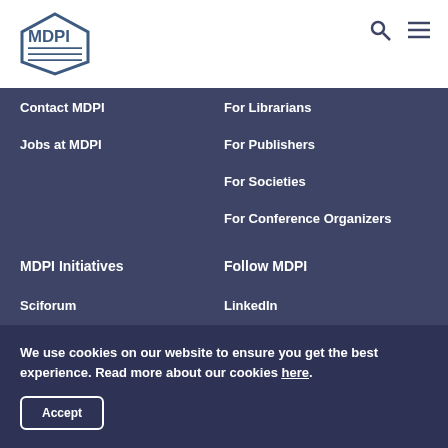MDPI
Contact MDPI
Jobs at MDPI
For Librarians
For Publishers
For Societies
For Conference Organizers
MDPI Initiatives
Follow MDPI
Sciforum
MDPI Books
Preprints
Scilit
LinkedIn
Facebook
Twitter
We use cookies on our website to ensure you get the best experience. Read more about our cookies here.